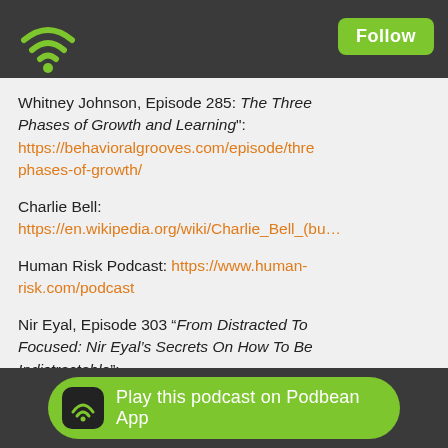Podbean app header with WiFi icon and Follow button
Whitney Johnson, Episode 285: "The Three Phases of Growth and Learning": https://behavioralgrooves.com/episode/threphases-of-growth/
Charlie Bell: https://en.wikipedia.org/wiki/Charlie_Bell_(bu…
Human Risk Podcast: https://www.human-risk.com/podcast
Nir Eyal, Episode 303 "From Distracted To Focused: Nir Eyal's Secrets On How To Be Indistractable": https://behavioralgrooves.com/episode/nir-eyal-how-to-be-indistractable/
Vanessa Bohns, Episode 253 "Why You Don't Need to be Powerful to be …/influ…
Play this podcast on Podbean App